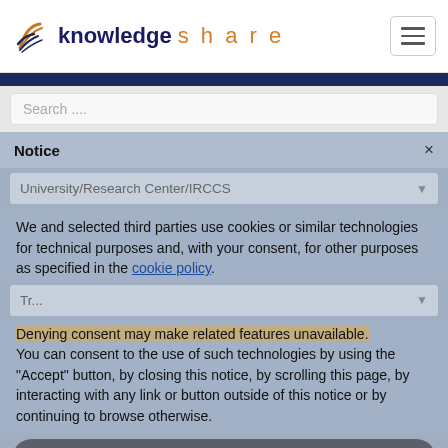knowledge share
Search ....
Notice
University/Research Center/IRCCS
We and selected third parties use cookies or similar technologies for technical purposes and, with your consent, for other purposes as specified in the cookie policy. Denying consent may make related features unavailable. You can consent to the use of such technologies by using the "Accept" button, by closing this notice, by scrolling this page, by interacting with any link or button outside of this notice or by continuing to browse otherwise.
PHOTOCATALYTIC PAINTS IN THE VISIBLE REGION
Anti-viruses | Environmental engineering | Photocatalytic paint | Pollutant removal | Self-cleaning material
Accept
Learn more and customize